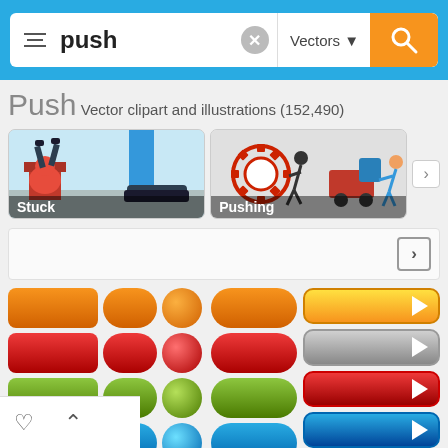[Figure (screenshot): Search bar with filter icon, bold text 'push', clear button, Vectors dropdown, and orange search button on blue background header]
Push Vector clipart and illustrations (152,490)
[Figure (screenshot): Two collection thumbnails: 'Stuck' showing Santa stuck in chimney and foot pushing, 'Pushing' showing gear with person pushing and man pushing a car, with right navigation arrow]
[Figure (screenshot): Blank white row with right arrow box]
[Figure (screenshot): Grid of push button vector icons in orange, red, green, blue, gray colors in rectangle, pill, and circle shapes; plus four wide arrow buttons in yellow, gray, red, and blue on the right]